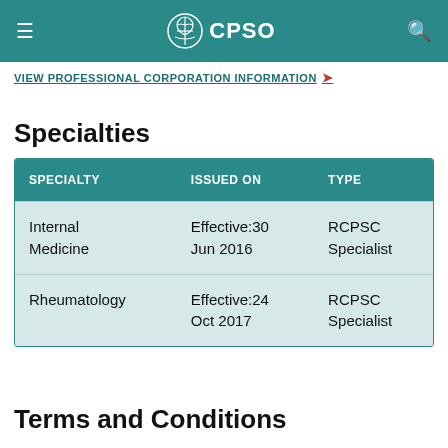CPSO
VIEW PROFESSIONAL CORPORATION INFORMATION
Specialties
| SPECIALTY | ISSUED ON | TYPE |
| --- | --- | --- |
| Internal Medicine | Effective:30 Jun 2016 | RCPSC Specialist |
| Rheumatology | Effective:24 Oct 2017 | RCPSC Specialist |
Terms and Conditions